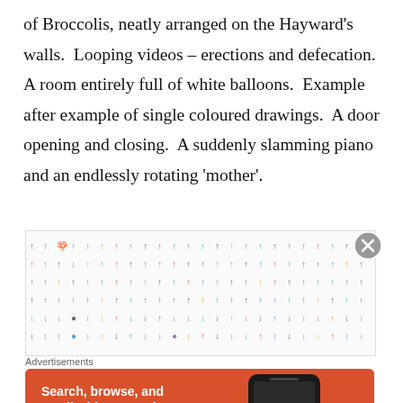Repetition was the name of the game, 1000 prints of Broccolis, neatly arranged on the Hayward’s walls. Looping videos – erections and defecation. A room entirely full of white balloons. Example after example of single coloured drawings. A door opening and closing. A suddenly slamming piano and an endlessly rotating ‘mother’.
[Figure (photo): Grid of small colourful mushroom-like icons arranged in rows on a white background, with a close/dismiss button (circled X) at the right side.]
Advertisements
[Figure (infographic): DuckDuckGo advertisement banner with orange background. Text reads: Search, browse, and email with more privacy. All in One Free App. Image of a smartphone with DuckDuckGo logo.]